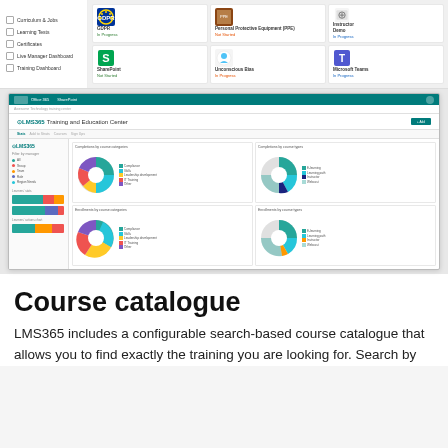[Figure (screenshot): LMS365 course dashboard showing a grid of course cards including GDPR, Personal Protective Equipment, SharePoint, and Microsoft Teams courses with status indicators]
[Figure (screenshot): LMS365 Training and Education Center dashboard showing pie charts for Completions by course categories and Completions by course types, with stacked bar charts on the left panel]
Course catalogue
LMS365 includes a configurable search-based course catalogue that allows you to find exactly the training you are looking for. Search by